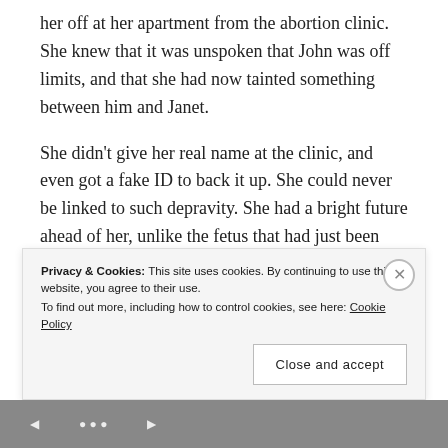her off at her apartment from the abortion clinic. She knew that it was unspoken that John was off limits, and that she had now tainted something between him and Janet.
She didn't give her real name at the clinic, and even got a fake ID to back it up. She could never be linked to such depravity. She had a bright future ahead of her, unlike the fetus that had just been plucked from the depths of
Privacy & Cookies: This site uses cookies. By continuing to use this website, you agree to their use.
To find out more, including how to control cookies, see here: Cookie Policy
Close and accept